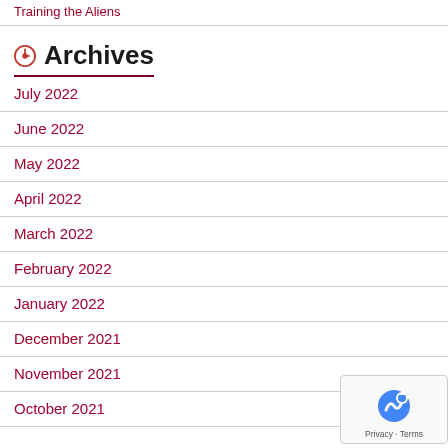Training the Aliens
Archives
July 2022
June 2022
May 2022
April 2022
March 2022
February 2022
January 2022
December 2021
November 2021
October 2021